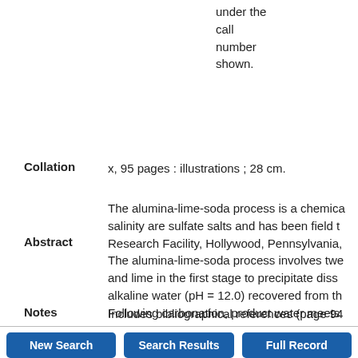under the call number shown.
Collation
x, 95 pages : illustrations ; 28 cm.
Abstract
The alumina-lime-soda process is a chemical... salinity are sulfate salts and has been field tested at the Research Facility, Hollywood, Pennsylvania, The alumina-lime-soda process involves two... and lime in the first stage to precipitate dissolved... alkaline water (pH = 12.0) recovered from the... Following carbonation, product water meets...
Notes
Includes bibliographical references (page 94...
New Search
Search Results
Full Record